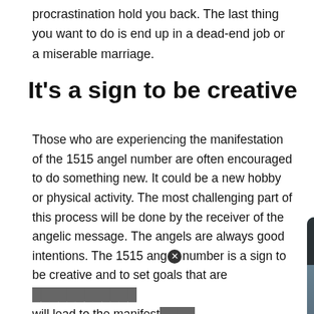procrastination hold you back. The last thing you want to do is end up in a dead-end job or a miserable marriage.
It's a sign to be creative
Those who are experiencing the manifestation of the 1515 angel number are often encouraged to do something new. It could be a new hobby or physical activity. The most challenging part of this process will be done by the receiver of the angelic message. The angels are always good intentions. The 1515 angel number is a sign to be creative and to set goals that are… will lead to the manifest…
[Figure (screenshot): Video popup overlay showing 'Flycam Trào Lưu ...' with a play button and a 'Contact Us' button, plus a Channel 21 TV icon in bottom right. A close (X) button is visible. Background shows a person in a blue jacket with mountains.]